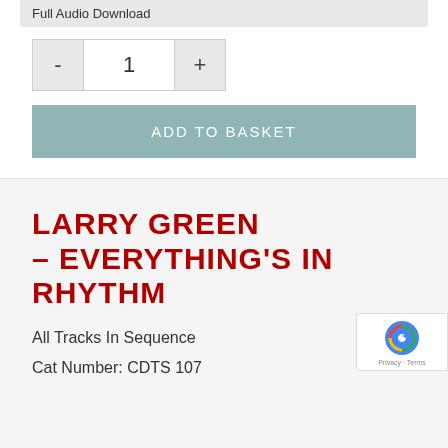Full Audio Download
- 1 +
ADD TO BASKET
LARRY GREEN – EVERYTHING'S IN RHYTHM
All Tracks In Sequence
Cat Number: CDTS 107